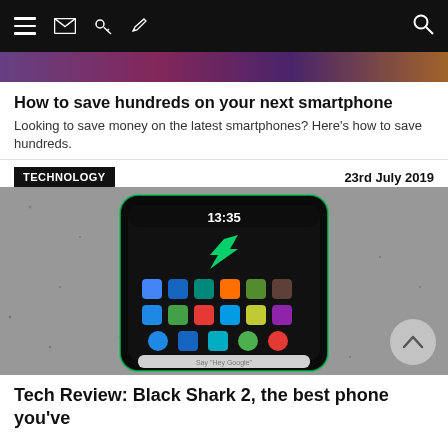Navigation bar with hamburger menu, envelope, key, pencil icons on left and search icon on right
[Figure (photo): Colorful banner image strip at top, partially visible]
How to save hundreds on your next smartphone
Looking to save money on the latest smartphones? Here's how to save hundreds.
TECHNOLOGY
23rd July 2019
[Figure (photo): Black Shark 2 gaming smartphone lying on a granite surface, screen on showing 13:35 time and app icons with green gaming logo]
Tech Review: Black Shark 2, the best phone you've